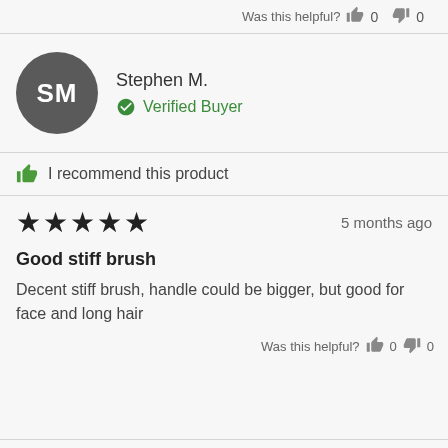Was this helpful? 👍 0 👎 0
[Figure (other): Reviewer avatar circle with initials SM on dark gray background]
Stephen M.
✔ Verified Buyer
👍 I recommend this product
★★★★★   5 months ago
Good stiff brush
Decent stiff brush, handle could be bigger, but good for face and long hair
Was this helpful? 👍 0 👎 0